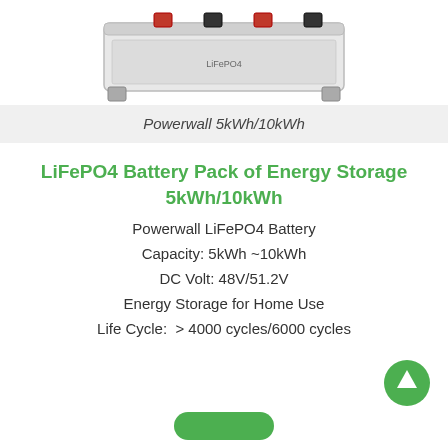[Figure (photo): Powerwall LiFePO4 battery pack unit, white rectangular box with terminals visible, shown from a top-front angle against white background]
Powerwall 5kWh/10kWh
LiFePO4 Battery Pack of Energy Storage 5kWh/10kWh
Powerwall LiFePO4 Battery
Capacity: 5kWh ~10kWh
DC Volt: 48V/51.2V
Energy Storage for Home Use
Life Cycle:  > 4000 cycles/6000 cycles